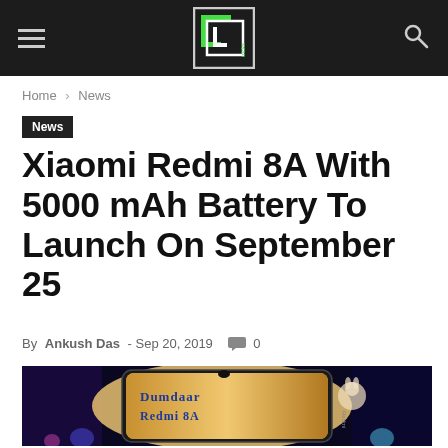Navigation header with hamburger menu, site logo, and search icon
Home › News
News
Xiaomi Redmi 8A With 5000 mAh Battery To Launch On September 25
By Ankush Das - Sep 20, 2019  0
[Figure (photo): Redmi 8A promotional image showing a smartphone with 'Dumdaar Redmi 8A' text on screen, surrounded by cartoon characters in a dark setting]